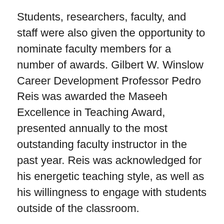Students, researchers, faculty, and staff were also given the opportunity to nominate faculty members for a number of awards. Gilbert W. Winslow Career Development Professor Pedro Reis was awarded the Maseeh Excellence in Teaching Award, presented annually to the most outstanding faculty instructor in the past year. Reis was acknowledged for his energetic teaching style, as well as his willingness to engage with students outside of the classroom.
The CEE Distinguished Service and Leadership Award was given to JR East Professor of Engineering Joseph Sussman. The award recognizes outstanding departmental service and leadership contributions of a member of the CEE faculty, to acknowledge an individual who fosters a culture of diversity,